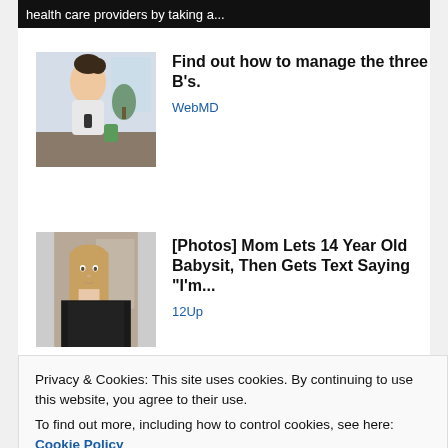[Figure (screenshot): Dark banner at top with white text: 'health care providers by taking a...']
Find out how to manage the three B's.
WebMD
[Figure (photo): Photo of a woman sitting at a table with a green drink and phone]
[Photos] Mom Lets 14 Year Old Babysit, Then Gets Text Saying "I'm..."
12Up
[Figure (photo): Photo of a young teenage girl in front of a screen]
Posted in 2000-2010, art, artfolio, jeff, jeff thomann,
Privacy & Cookies: This site uses cookies. By continuing to use this website, you agree to their use.
To find out more, including how to control cookies, see here: Cookie Policy
Close and accept